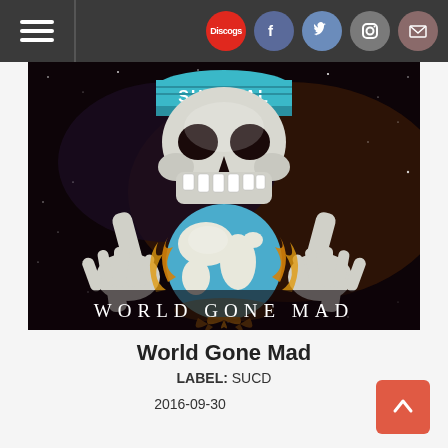Navigation bar with hamburger menu and social icons: Discogs, Facebook, Twitter, Instagram, Mail
[Figure (illustration): Album cover art for 'World Gone Mad' by Suicidal Tendencies. Dark space background with a skull wearing a beanie cap labeled SUICIDAL at the top, skeletal hands holding a flaming globe/Earth in the center, with the text WORLD GONE MAD at the bottom.]
World Gone Mad
LABEL: SUCD
2016-09-30